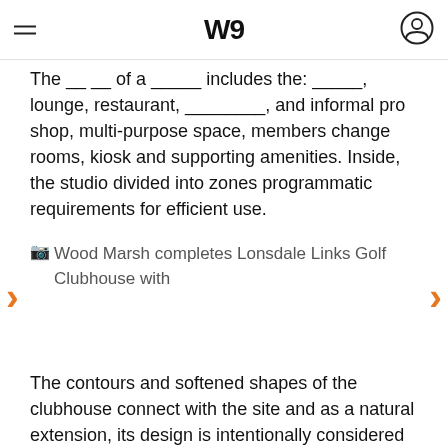W
The __ __ of a _____ includes the: _____, lounge, restaurant, ________, and informal pro shop, multi-purpose space, members change rooms, kiosk and supporting amenities. Inside, the studio divided into zones programmatic requirements for efficient use.
[Figure (photo): Wood Marsh completes Lonsdale Links Golf Clubhouse with [image broken/loading]]
The contours and softened shapes of the clubhouse connect with the site and as a natural extension, its design is intentionally considered